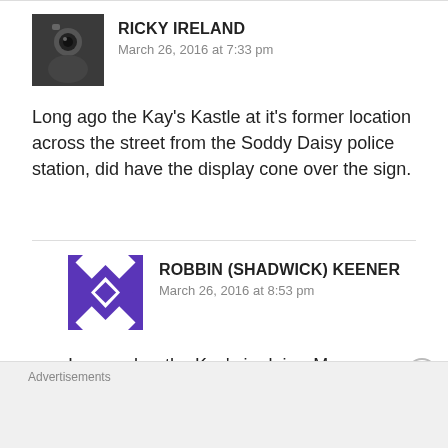[Figure (photo): Avatar photo of Ricky Ireland, a man with a camera, dark tones]
RICKY IRELAND
March 26, 2016 at 7:33 pm
Long ago the Kay's Kastle at it's former location across the street from the Soddy Daisy police station, did have the display cone over the sign.
[Figure (illustration): Avatar image for Robbin (Shadwick) Keener, a geometric quilt-style pattern in purple and white]
ROBBIN (SHADWICK) KEENER
March 26, 2016 at 8:53 pm
I remember the Kay's in daisy. My mom and grandmother took us there. I also remember the giant cone and I think they had a great hot dog. I
Advertisements